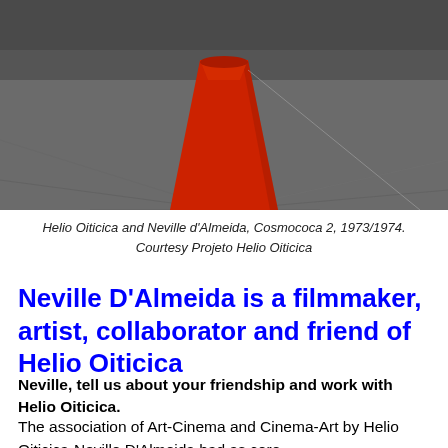[Figure (photo): Photograph showing a red cone-shaped object on a grey surface, partially visible at top of page. Related to Helio Oiticica and Neville d'Almeida's Cosmococa 2, 1973/1974.]
Helio Oiticica and Neville d'Almeida, Cosmococa 2, 1973/1974. Courtesy Projeto Helio Oiticica
Neville D'Almeida is a filmmaker, artist, collaborator and friend of Helio Oiticica
Neville, tell us about your friendship and work with Helio Oiticica.
The association of Art-Cinema and Cinema-Art by Helio Oiticica-Neville D'Almeida had as core